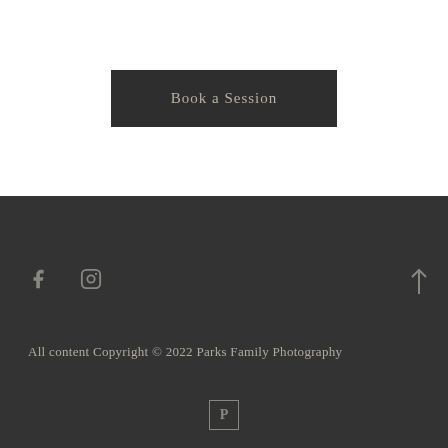Book a Session
[Figure (infographic): Facebook icon (f) and Instagram icon in dark footer]
[Figure (other): Arrow pointing upward (back to top)]
All content Copyright © 2022 Parks Family Photography
[Figure (logo): Square logo with letter P inside]